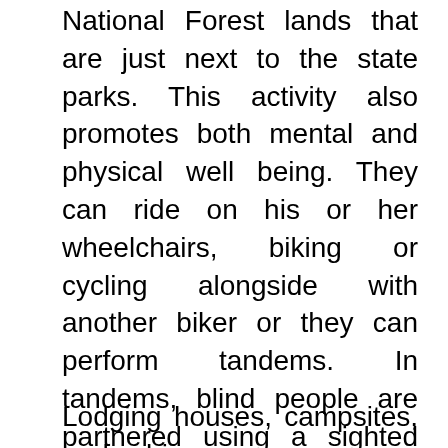National Forest lands that are just next to the state parks. This activity also promotes both mental and physical well being. They can ride on his or her wheelchairs, biking or cycling alongside with another biker or they can perform tandems. In tandems, blind people are partnered using a sighted partner so they can possess a fun ride. For those who ride in wheelchairs, they can bring self-defense any sort of taser stun guns for their protection since they participate in sports.
Lodging houses, campsites, and cabins may